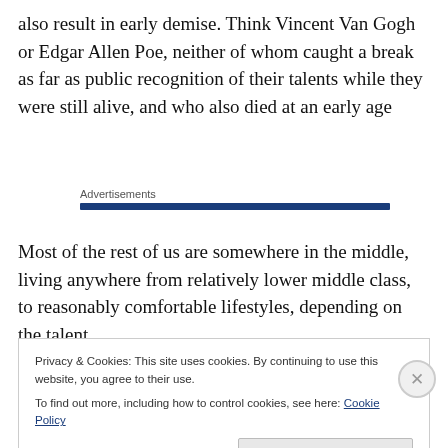also result in early demise. Think Vincent Van Gogh or Edgar Allen Poe, neither of whom caught a break as far as public recognition of their talents while they were still alive, and who also died at an early age
Advertisements
Most of the rest of us are somewhere in the middle, living anywhere from relatively lower middle class, to reasonably comfortable lifestyles, depending on the talent
Privacy & Cookies: This site uses cookies. By continuing to use this website, you agree to their use.
To find out more, including how to control cookies, see here: Cookie Policy
Close and accept